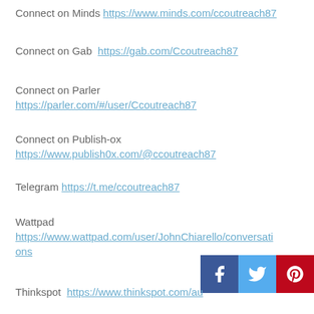Connect on Minds https://www.minds.com/ccoutreach87
Connect on Gab  https://gab.com/Ccoutreach87
Connect on Parler
https://parler.com/#/user/Ccoutreach87
Connect on Publish-ox
https://www.publish0x.com/@ccoutreach87
Telegram https://t.me/ccoutreach87
Wattpad
https://www.wattpad.com/user/JohnChiarello/conversations
[Figure (infographic): Social media sharing buttons: Facebook (blue), Twitter (light blue), Pinterest (red)]
Thinkspot  https://www.thinkspot.com/au